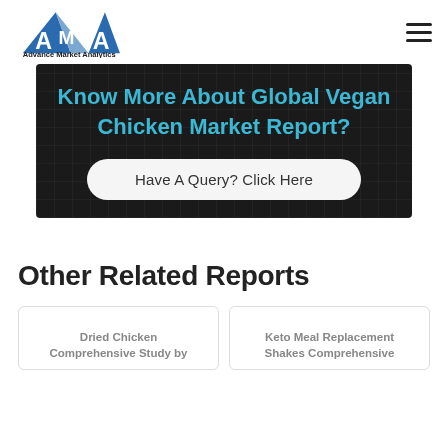Advance Market Analytics
Know More About Global Vegan Chicken Market Report?
Have A Query? Click Here
Other Related Reports
Dried Chicken Comprehensive Study by
Keto Meal Replacement Shakes Comprehensive